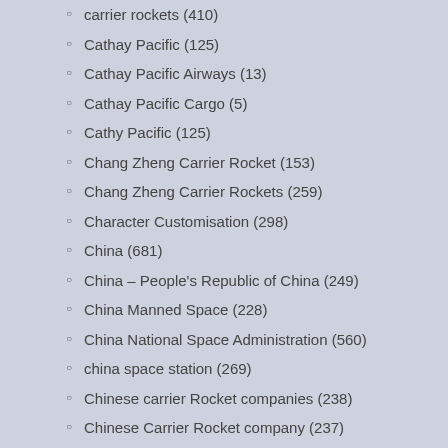carrier rockets (410)
Cathay Pacific (125)
Cathay Pacific Airways (13)
Cathay Pacific Cargo (5)
Cathy Pacific (125)
Chang Zheng Carrier Rocket (153)
Chang Zheng Carrier Rockets (259)
Character Customisation (298)
China (681)
China – People's Republic of China (249)
China Manned Space (228)
China National Space Administration (560)
china space station (269)
Chinese carrier Rocket companies (238)
Chinese Carrier Rocket company (237)
Chinese Television series (19)